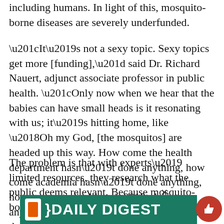including humans. In light of this, mosquito-borne diseases are severely underfunded.
“It’s not a sexy topic. Sexy topics get more [funding],” said Dr. Richard Nauert, adjunct associate professor in public health. “Only now when we hear that the babies can have small heads is it resonating with us; it’s hitting home, like ‘Oh my God, [the mosquitos] are headed up this way. How come the health department hasn’t done anything, how come academia hasn’t done anything, how come medical hasn’t done anything?’ Well, what do you want us to do?”
The problem is that with experts’ limited resources, they research what the public deems relevant. Because mosquito-borne illnesses disproportionately affect d lower
[Figure (other): Daily Digest banner overlay with green background, phone icon, DAILY DIGEST text in white bold, and a red thumbs-up circle button]